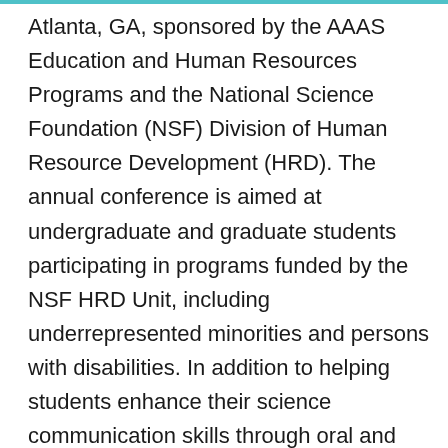Atlanta, GA, sponsored by the AAAS Education and Human Resources Programs and the National Science Foundation (NSF) Division of Human Resource Development (HRD). The annual conference is aimed at undergraduate and graduate students participating in programs funded by the NSF HRD Unit, including underrepresented minorities and persons with disabilities. In addition to helping students enhance their science communication skills through oral and poster presentations, a key component of the ERN conference is to provide students with career development strategies through focused workshop sessions.
Robin S. Broughton and Chi Onyewu, 2010-2012 AAAS S&T Policy Fellows and MECE co-chairs, co-organized activities for undergraduate and graduate students. The